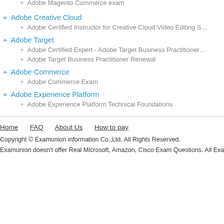+ Adobe Magento Commerce exam
+ Adobe Creative Cloud
+ Adobe Certified Instructor for Creative Cloud Video Editing S…
+ Adobe Target
+ Adobe Certified Expert - Adobe Target Business Practitioner…
+ Adobe Target Business Practitioner Renewal
+ Adobe Commerce
+ Adobe Commerce Exam
+ Adobe Experience Platform
+ Adobe Experience Platform Technical Foundations
Home   FAQ   About Us   How to pay
Copyright © Examunion information Co.,Ltd. All Rights Reserved.
Examunion doesn't offer Real Microsoft, Amazon, Cisco Exam Questions. All Examu…